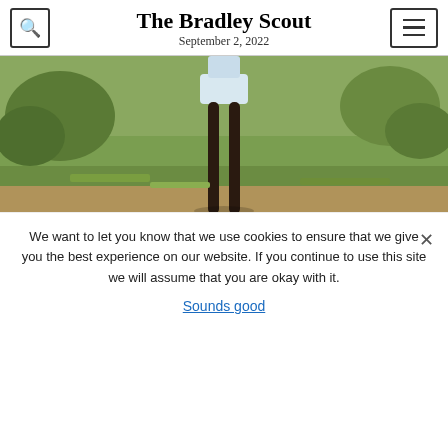The Bradley Scout
September 2, 2022
[Figure (photo): A golfer in a white skirt and white top standing on a golf course with green grass and trees in the background.]
Braves look to the future, close fall season with seventh-place finish
One-on-one: Who will win the AL MVP?
We want to let you know that we use cookies to ensure that we give you the best experience on our website. If you continue to use this site we will assume that you are okay with it.
Sounds good